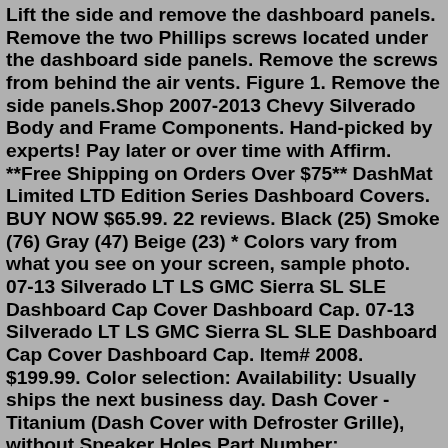Lift the side and remove the dashboard panels. Remove the two Phillips screws located under the dashboard side panels. Remove the screws from behind the air vents. Figure 1. Remove the side panels.Shop 2007-2013 Chevy Silverado Body and Frame Components. Hand-picked by experts! Pay later or over time with Affirm. **Free Shipping on Orders Over $75** DashMat Limited LTD Edition Series Dashboard Covers. BUY NOW $65.99. 22 reviews. Black (25) Smoke (76) Gray (47) Beige (23) * Colors vary from what you see on your screen, sample photo. 07-13 Silverado LT LS GMC Sierra SL SLE Dashboard Cap Cover Dashboard Cap. 07-13 Silverado LT LS GMC Sierra SL SLE Dashboard Cap Cover Dashboard Cap. Item# 2008. $199.99. Color selection: Availability: Usually ships the next business day. Dash Cover - Titanium (Dash Cover with Defroster Grille), without Speaker Holes Part Number: RC40110003T Guaranteed to Fit $140.99 +$0.00 Core Charge Add to cart Vehicle Fitment 2008 Chevrolet Silverado 1500 LTZ 8 Cyl 6.0L 2008